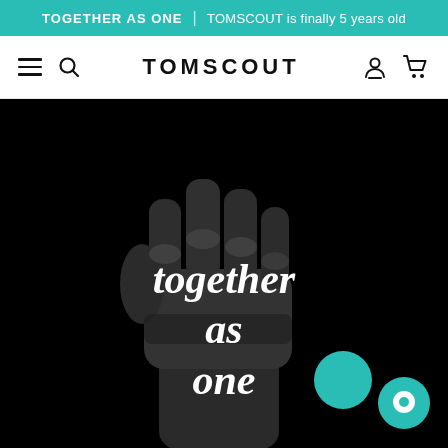TOGETHER AS ONE | TOMSCOUT is finally 5 years old
TOMSCOUT
[Figure (illustration): A black and white raised fist silhouette on a black background with white italic text 'together as one' overlaid, and a teal circle accent near 'one'. A teal chat bubble button appears in the bottom right corner.]